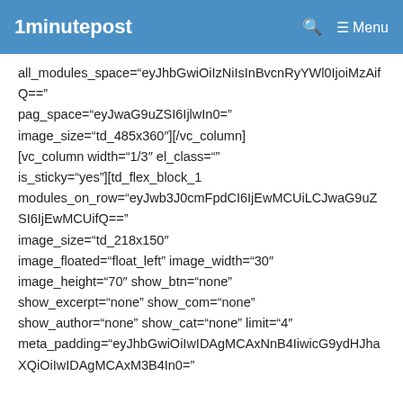1minutepost
all_modules_space="eyJhbGwiOiIzNiIsInBvcnRyYWl0IjoiMzAifQ==" pag_space="eyJwaG9uZSI6IjlwIn0=" image_size="td_485x360"][/vc_column] [vc_column width="1/3" el_class="" is_sticky="yes"][td_flex_block_1 modules_on_row="eyJwb3J0cmFpdCI6IjEwMCUiLCJwaG9uZSI6IjEwMCUifQ==" image_size="td_218x150" image_floated="float_left" image_width="30" image_height="70" show_btn="none" show_excerpt="none" show_com="none" show_author="none" show_cat="none" limit="4" meta_padding="eyJhbGwiOiIwIDAgMCAxNnB4IiwicG9ydHJhaXQiOiIwIDAgMCAxM3B4In0="